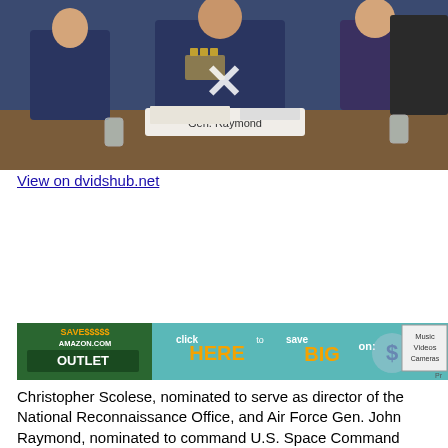[Figure (photo): Military officers in dress uniforms seated at a hearing table. A nameplate in front reads 'Gen. Raymond'. An X (play button overlay) is visible in the center of the image.]
View on dvidshub.net
[Figure (screenshot): Advertisement banner: Amazon.com Outlet - SAVE$$$$$ click HERE to save BIG on: Music, Videos, Cameras...]
Christopher Scolese, nominated to serve as director of the National Reconnaissance Office, and Air Force Gen. John Raymond, nominated to command U.S. Space Command